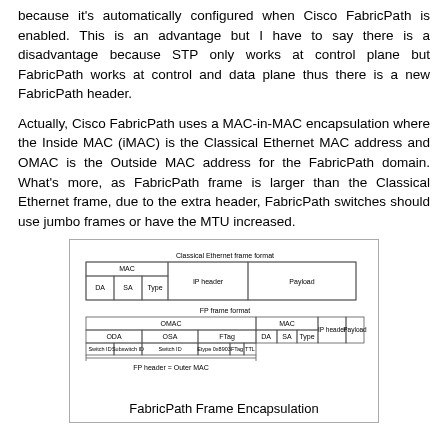because it's automatically configured when Cisco FabricPath is enabled. This is an advantage but I have to say there is a disadvantage because STP only works at control plane but FabricPath works at control and data plane thus there is a new FabricPath header.
Actually, Cisco FabricPath uses a MAC-in-MAC encapsulation where the Inside MAC (iMAC) is the Classical Ethernet MAC address and OMAC is the Outside MAC address for the FabricPath domain. What's more, as FabricPath frame is larger than the Classical Ethernet frame, due to the extra header, FabricPath switches should use jumbo frames or have the MTU increased.
[Figure (schematic): Diagram showing FabricPath Frame Encapsulation. Top section shows Classical Ethernet frame format with MAC (DA, SA, Type), IP header, and Payload. Bottom section shows FP frame format with OMAC (ODA with Switch ID and Subswitch ID, OSA with Switch ID, FTag with Etype 0x8903 FTag TTL), MAC (DA, SA, Type), IP header, and Payload. Label: FP header = Outer MAC.]
FabricPath Frame Encapsulation